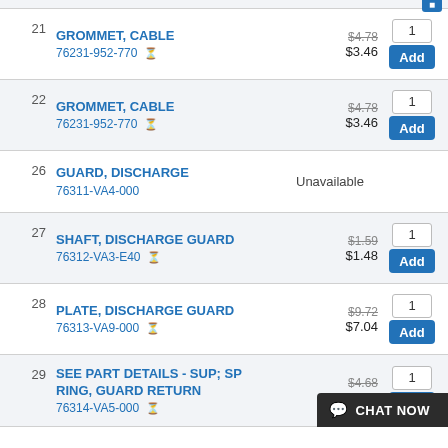21 GROMMET, CABLE 76231-952-770 $4.78 $3.46 Add 1
22 GROMMET, CABLE 76231-952-770 $4.78 $3.46 Add 1
26 GUARD, DISCHARGE 76311-VA4-000 Unavailable
27 SHAFT, DISCHARGE GUARD 76312-VA3-E40 $1.59 $1.48 Add 1
28 PLATE, DISCHARGE GUARD 76313-VA9-000 $9.72 $7.04 Add 1
29 SEE PART DETAILS - SUP; SPRING, GUARD RETURN 76314-VA5-000 $4.68 $4.35 Add 1